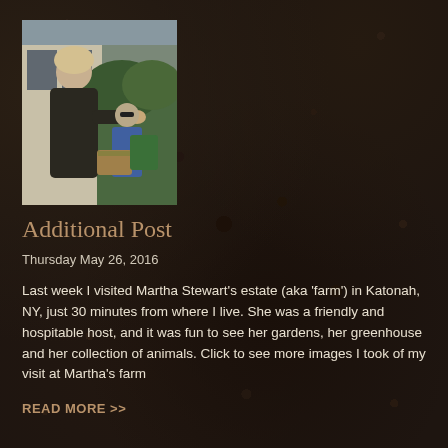[Figure (photo): A woman with blonde hair wearing a dark sweater shaking hands outdoors, with another person in sunglasses and greenery in the background]
Additional Post
Thursday May 26, 2016
Last week I visited Martha Stewart's estate (aka 'farm') in Katonah, NY, just 30 minutes from where I live. She was a friendly and hospitable host, and it was fun to see her gardens, her greenhouse and her collection of animals. Click to see more images I took of my visit at Martha's farm
READ MORE >>